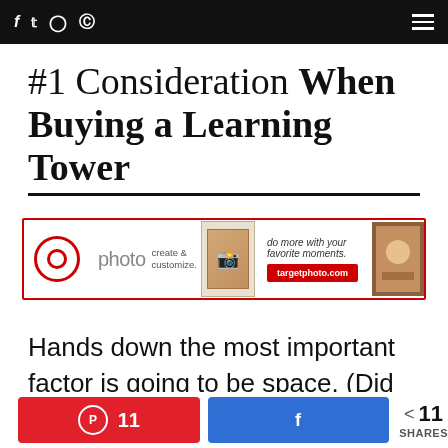f  t  (instagram)  (pinterest)  ≡
#1 Consideration When Buying a Learning Tower
[Figure (other): Target Photo advertisement banner with Target logo, photo book image, tagline 'do more with your favorite moments.' and targetphoto.com button]
Hands down the most important factor is going to be space. (Did you think I was going to say safety or
11  [Pinterest share button]  [Facebook share button]  < 11 SHARES